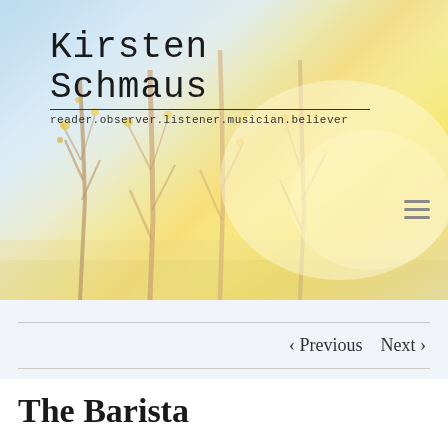[Figure (photo): Blog header photo showing bare autumn trees with golden yellow leaves against a bright sky, light-washed warm tones]
Kirsten Schmaus
reader.observer.listener.musician.believer
‹ Previous   Next ›
The Barista